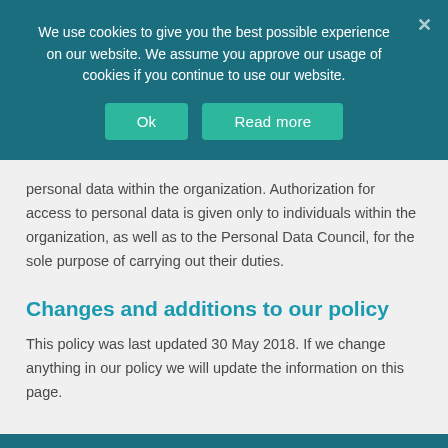We use cookies to give you the best possible experience on our website. We assume you approve our usage of cookies if you continue to use our website.
personal data within the organization. Authorization for access to personal data is given only to individuals within the organization, as well as to the Personal Data Council, for the sole purpose of carrying out their duties.
Changes and additions to our policy
This policy was last updated 30 May 2018. If we change anything in our policy we will update the information on this page.